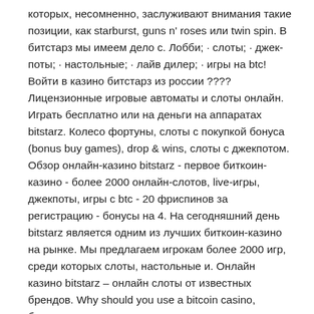которых, несомненно, заслуживают внимания такие позиции, как starburst, guns n' roses или twin spin. В битстарз мы имеем дело с. Лобби; · слоты; · джек-поты; · настольные; · лайв дилер; · игры на btc! Войти в казино битстарз из россии ???? Лицензионные игровые автоматы и слоты онлайн. Играть бесплатно или на деньги на аппаратах bitstarz. Колесо фортуны, слоты с покупкой бонуса (bonus buy games), drop &amp; wins, слоты с джекпотом. Обзор онлайн-казино bitstarz - первое биткоин-казино - более 2000 онлайн-слотов, live-игры, джекпоты, игры с btc - 20 фриспинов за регистрацию - бонусы на 4. На сегодняшний день bitstarz является одним из лучших биткоин-казино на рынке. Мы предлагаем игрокам более 2000 игр, среди которых слоты, настольные и. Онлайн казино bitstarz – онлайн слоты от известных брендов. Why should you use a bitcoin casino, битстарз на